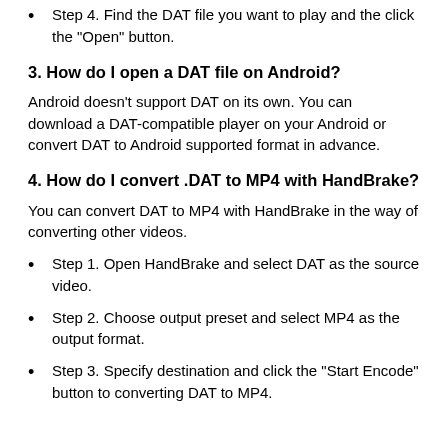Step 4. Find the DAT file you want to play and the click the "Open" button.
3. How do I open a DAT file on Android?
Android doesn't support DAT on its own. You can download a DAT-compatible player on your Android or convert DAT to Android supported format in advance.
4. How do I convert .DAT to MP4 with HandBrake?
You can convert DAT to MP4 with HandBrake in the way of converting other videos.
Step 1. Open HandBrake and select DAT as the source video.
Step 2. Choose output preset and select MP4 as the output format.
Step 3. Specify destination and click the "Start Encode" button to converting DAT to MP4.